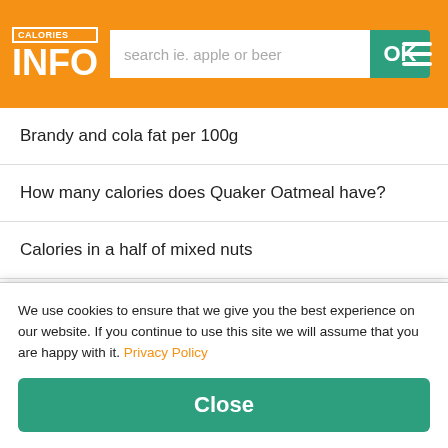CALORIES INFO — search ie. apple or beer — OK
Brandy and cola fat per 100g
How many calories does Quaker Oatmeal have?
Calories in a half of mixed nuts
Calories in whole mixed nuts
Calories for one, two or more mixed nuts
Calories in tablespoon of mixed nuts
Calories in teaspoon of mixed nuts
How much protein in macaroni with cheese?
We use cookies to ensure that we give you the best experience on our website. If you continue to use this site we will assume that you are happy with it. Privacy Policy
Close
Other compares: